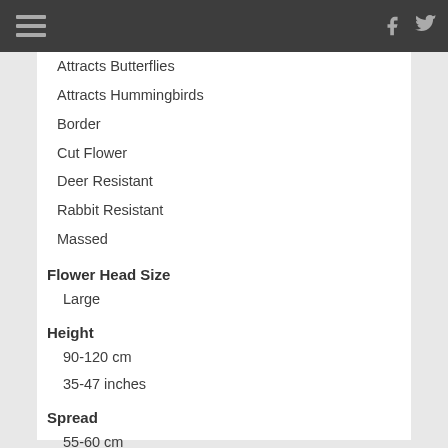Navigation header with hamburger menu, Facebook and Twitter icons
Attracts Butterflies
Attracts Hummingbirds
Border
Cut Flower
Deer Resistant
Rabbit Resistant
Massed
Flower Head Size
Large
Height
90-120 cm
35-47 inches
Spread
55-60 cm
21-23 inches
Foot Traffic